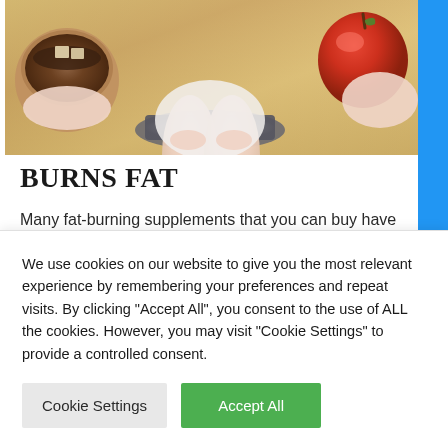[Figure (photo): Overhead view of a person standing on a scale, holding a coffee cup with sugar cubes in one hand and a red apple in the other. Wooden floor visible in background.]
BURNS FAT
Many fat-burning supplements that you can buy have caffeine in them because it is a naturally
We use cookies on our website to give you the most relevant experience by remembering your preferences and repeat visits. By clicking "Accept All", you consent to the use of ALL the cookies. However, you may visit "Cookie Settings" to provide a controlled consent.